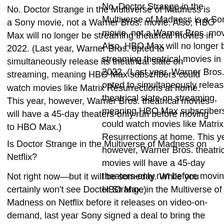No. Doctor Strange in the Multiverse of Madness is a Sony movie, not a Warner Bros. movie. Also, HBO Max will no longer be streaming theatrical movies in 2022. (Last year, Warner Bros. opted to simultaneously release its theatrical slate on streaming, meaning HBO Max subscribers could watch movies like Matrix Resurrections at home. This year, however, Warner Bros. theatrical movies will have a 45-day theaters-only run before moving to HBO Max.)
Is Doctor Strange in the Multiverse of Madness on Netflix?
Not right now—but it will be someday. While you certainly won't see Doctor Strange in the Multiverse of Madness on Netflix before it releases on video-on-demand, last year Sony signed a deal to bring the studio's 2022 film slate to Netflix during the "Pay 1 window," which used to be 18-months after